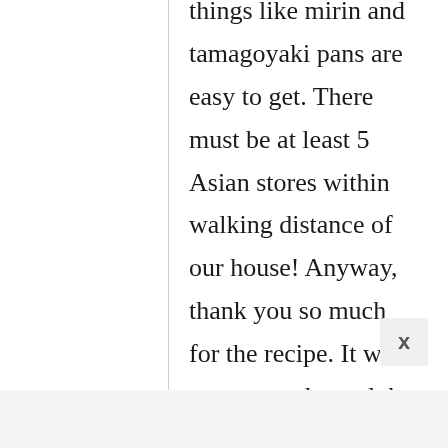things like mirin and tamagoyaki pans are easy to get. There must be at least 5 Asian stores within walking distance of our house! Anyway, thank you so much for the recipe. It was so easy to do, and the pictures really helped. Can't wait to put this in my bento! :)